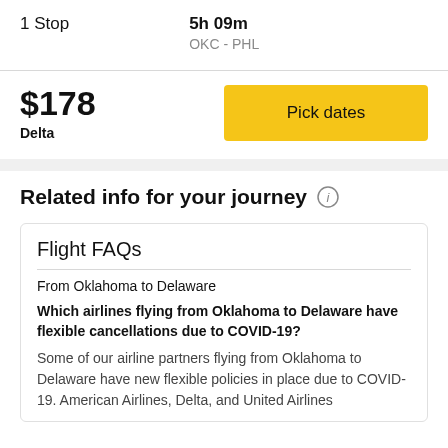1 Stop
5h 09m
OKC - PHL
$178
Delta
Pick dates
Related info for your journey
Flight FAQs
From Oklahoma to Delaware
Which airlines flying from Oklahoma to Delaware have flexible cancellations due to COVID-19?
Some of our airline partners flying from Oklahoma to Delaware have new flexible policies in place due to COVID-19. American Airlines, Delta, and United Airlines